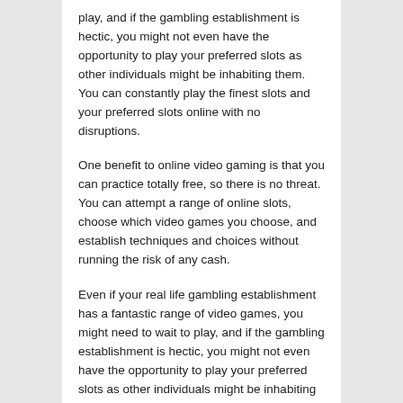play, and if the gambling establishment is hectic, you might not even have the opportunity to play your preferred slots as other individuals might be inhabiting them. You can constantly play the finest slots and your preferred slots online with no disruptions.
One benefit to online video gaming is that you can practice totally free, so there is no threat. You can attempt a range of online slots, choose which video games you choose, and establish techniques and choices without running the risk of any cash.
Even if your real life gambling establishment has a fantastic range of video games, you might need to wait to play, and if the gambling establishment is hectic, you might not even have the opportunity to play your preferred slots as other individuals might be inhabiting them. If you pick to play online, you can download an application that permits you instantaneous access to as lots of slots as you desires, without having to wait in any lines. You can constantly play the very best slots and your preferred slots